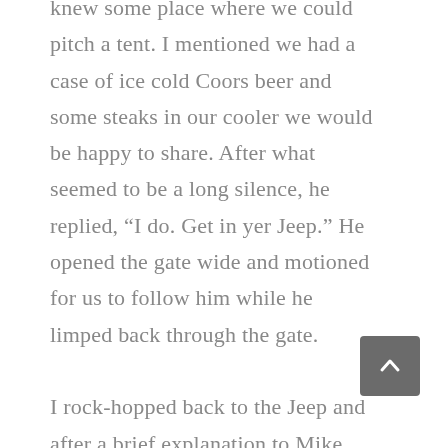knew some place where we could pitch a tent. I mentioned we had a case of ice cold Coors beer and some steaks in our cooler we would be happy to share. After what seemed to be a long silence, he replied, “I do. Get in yer Jeep.” He opened the gate wide and motioned for us to follow him while he limped back through the gate.

I rock-hopped back to the Jeep and after a brief explanation to Mike, completed the ford over the creek, following the man to